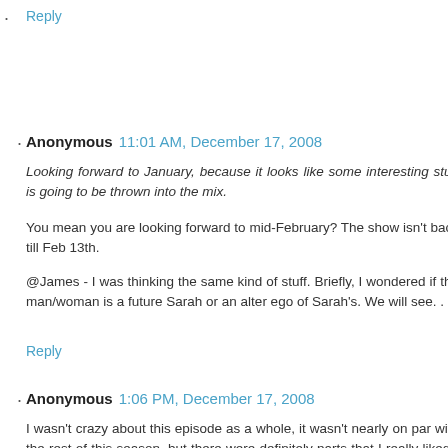Reply
Anonymous 11:01 AM, December 17, 2008
Looking forward to January, because it looks like some interesting stuff is going to be thrown into the mix.
You mean you are looking forward to mid-February? The show isn't back till Feb 13th.
@James - I was thinking the same kind of stuff. Briefly, I wondered if the man/woman is a future Sarah or an alter ego of Sarah's. We will see. . .
Reply
Anonymous 1:06 PM, December 17, 2008
I wasn't crazy about this episode as a whole, it wasn't nearly on par with the rest of this season, but there were definitely parts that I really liked - the interactions between Riley and Cameron were the best part for me, followed by